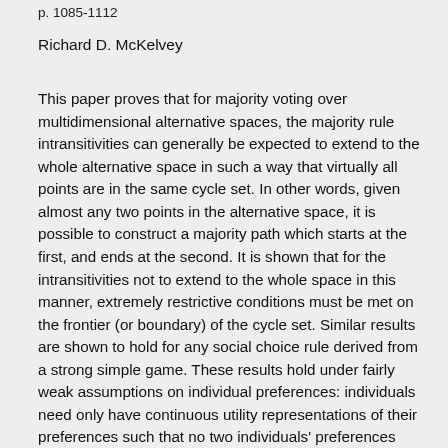p. 1085-1112
Richard D. McKelvey
This paper proves that for majority voting over multidimensional alternative spaces, the majority rule intransitivities can generally be expected to extend to the whole alternative space in such a way that virtually all points are in the same cycle set. In other words, given almost any two points in the alternative space, it is possible to construct a majority path which starts at the first, and ends at the second. It is shown that for the intransitivities not to extend to the whole space in this manner, extremely restrictive conditions must be met on the frontier (or boundary) of the cycle set. Similar results are shown to hold for any social choice rule derived from a strong simple game. These results hold under fairly weak assumptions on individual preferences: individuals need only have continuous utility representations of their preferences such that no two individuals' preferences coincide locally. The results seem to rule out the possibility, at least in models of interest to economists, of using the transitive closure of the majority relation as a useful social choice function. They also imply that under any